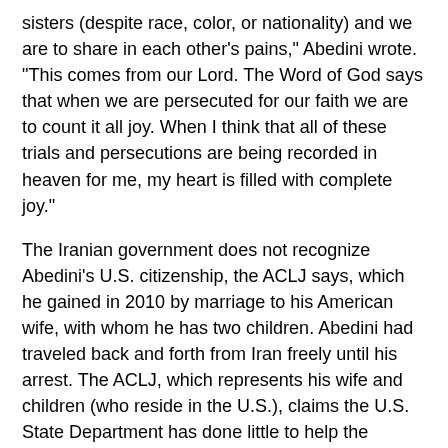sisters (despite race, color, or nationality) and we are to share in each other's pains,” Abedini wrote. “This comes from our Lord. The Word of God says that when we are persecuted for our faith we are to count it all joy. When I think that all of these trials and persecutions are being recorded in heaven for me, my heart is filled with complete joy.”
The Iranian government does not recognize Abedini’s U.S. citizenship, the ACLJ says, which he gained in 2010 by marriage to his American wife, with whom he has two children. Abedini had traveled back and forth from Iran freely until his arrest. The ACLJ, which represents his wife and children (who reside in the U.S.), claims the U.S. State Department has done little to help the pastor.
“We continue to press the Obama Administration to engage this case — to speak out forcefully on Pastor Saeed’s behalf and put pressure on Iran’s allies to free this American,” Sekulow said in the ACLJ’s news release. “Time is of the essence.”
Christian Solidarity Worldwide, a British religious rights organization,